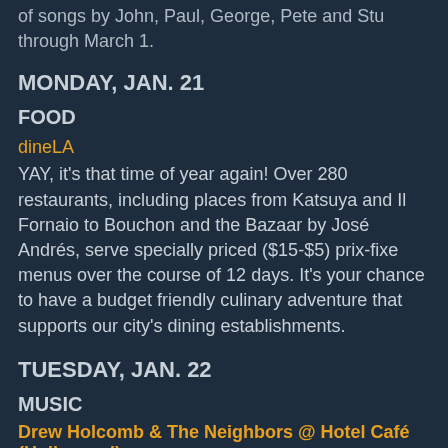of songs by John, Paul, George, Pete and Stu through March 1.
MONDAY, JAN. 21
FOOD
dineLA
YAY, it's that time of year again! Over 280 restaurants, including places from Katsuya and Il Fornaio to Bouchon and the Bazaar by José Andrés, serve specially priced ($15-$5) prix-fixe menus over the course of 12 days. It's your chance to have a budget friendly culinary adventure that supports our city's dining establishments.
TUESDAY, JAN. 22
MUSIC
Drew Holcomb & The Neighbors @ Hotel Café (Hollywood)